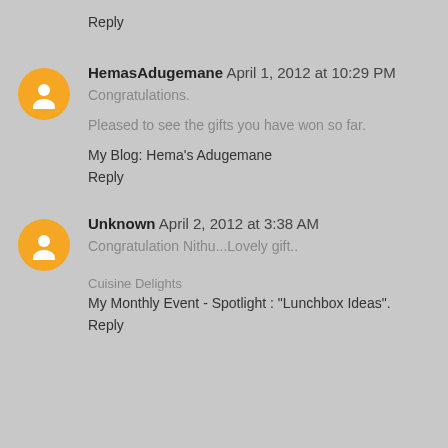Reply
HemasAdugemane April 1, 2012 at 10:29 PM
Congratulations.
Pleased to see the gifts you have won so far.
My Blog: Hema's Adugemane
Reply
Unknown April 2, 2012 at 3:38 AM
Congratulation Nithu...Lovely gift..
Cuisine Delights
My Monthly Event - Spotlight : "Lunchbox Ideas".
Reply